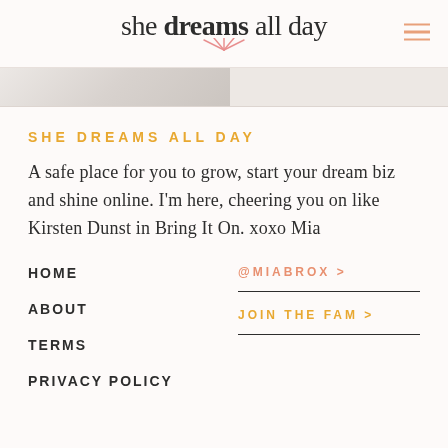she dreams all day
[Figure (photo): Partial image strip showing a silver/metallic object on a light background]
SHE DREAMS ALL DAY
A safe place for you to grow, start your dream biz and shine online. I'm here, cheering you on like Kirsten Dunst in Bring It On. xoxo Mia
HOME
ABOUT
TERMS
PRIVACY POLICY
@MIABROX >
JOIN THE FAM >